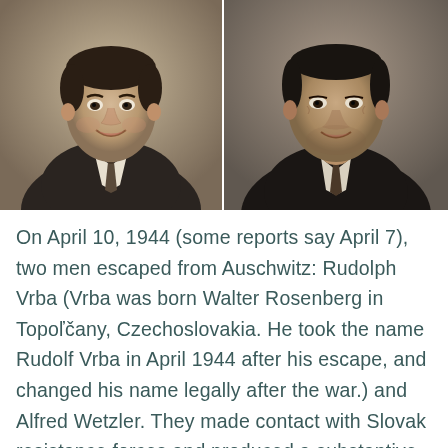[Figure (photo): Two black-and-white portrait photographs side by side. Left: a young man in a suit and tie smiling at the camera (Rudolph Vrba). Right: an older man in a suit and tie with a slight smile (Alfred Wetzler).]
On April 10, 1944 (some reports say April 7), two men escaped from Auschwitz: Rudolph Vrba (Vrba was born Walter Rosenberg in Topoľčany, Czechoslovakia. He took the name Rudolf Vrba in April 1944 after his escape, and changed his name legally after the war.) and Alfred Wetzler. They made contact with Slovak resistance forces and produced a substantive report on the extermination camp at Auschwitz-Birkenau. In great detail, they documented the killing process